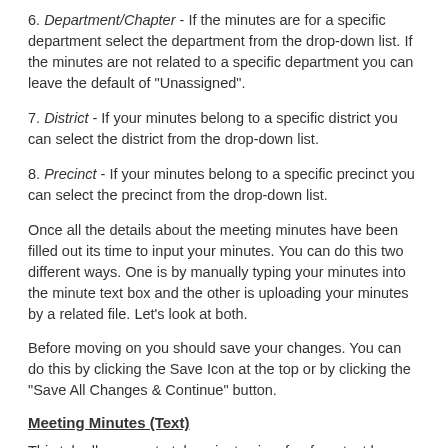6. Department/Chapter - If the minutes are for a specific department select the department from the drop-down list. If the minutes are not related to a specific department you can leave the default of "Unassigned".
7. District - If your minutes belong to a specific district you can select the district from the drop-down list.
8. Precinct - If your minutes belong to a specific precinct you can select the precinct from the drop-down list.
Once all the details about the meeting minutes have been filled out its time to input your minutes. You can do this two different ways. One is by manually typing your minutes into the minute text box and the other is uploading your minutes by a related file. Let's look at both.
Before moving on you should save your changes. You can do this by clicking the Save Icon at the top or by clicking the "Save All Changes & Continue" button.
Meeting Minutes (Text)
This tab allows you to take minutes in a freeform text box. You simply need to Enter a Title of Meeting Minutes and